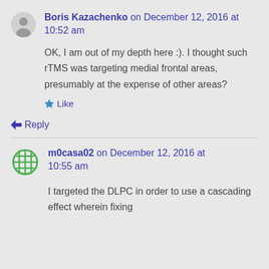Boris Kazachenko on December 12, 2016 at 10:52 am
OK, I am out of my depth here :). I thought such rTMS was targeting medial frontal areas, presumably at the expense of other areas?
Like
↳ Reply
m0casa02 on December 12, 2016 at 10:55 am
I targeted the DLPC in order to use a cascading effect wherein fixing